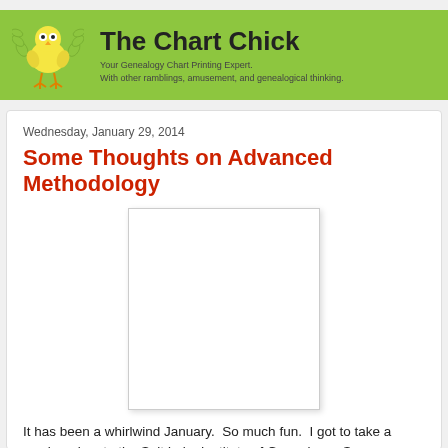The Chart Chick
Your Genealogy Chart Printing Expert.
With other ramblings, amusement, and genealogical thinking.
Wednesday, January 29, 2014
Some Thoughts on Advanced Methodology
[Figure (other): A white rectangular image placeholder with a light gray border and drop shadow, centered on the page.]
It has been a whirlwind January.  So much fun.  I got to take a week and go to the Salt Lake Institute of Genealogy.  So many good friends there and so much to enjoy.  And then